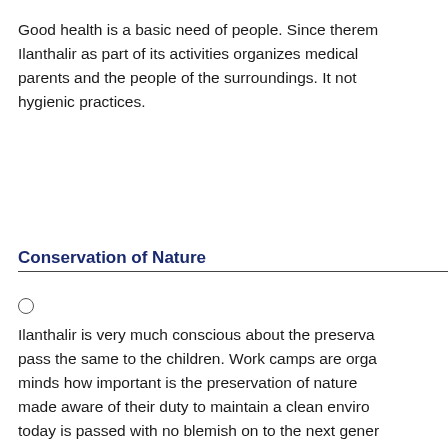Good health is a basic need of people. Since there Ilanthalir as part of its activities organizes medical parents and the people of the surroundings. It not hygienic practices.
Conservation of Nature
Ilanthalir is very much conscious about the preservation pass the same to the children. Work camps are organized minds how important is the preservation of nature made aware of their duty to maintain a clean environment today is passed with no blemish on to the next generation.